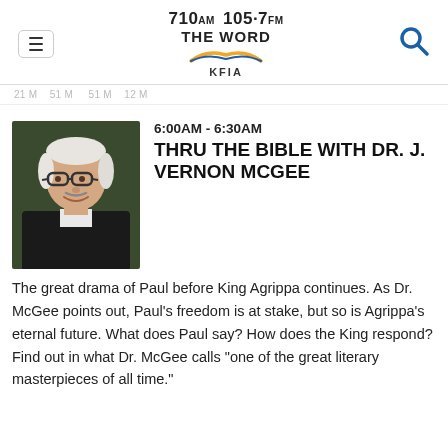710AM 105.7FM THE WORD KFIA
[Figure (photo): Portrait photo of an older man with glasses and white hair, smiling, wearing a dark jacket]
6:00AM - 6:30AM
THRU THE BIBLE WITH DR. J. VERNON MCGEE
The great drama of Paul before King Agrippa continues. As Dr. McGee points out, Paul’s freedom is at stake, but so is Agrippa’s eternal future. What does Paul say? How does the King respond? Find out in what Dr. McGee calls “one of the great literary masterpieces of all time.”